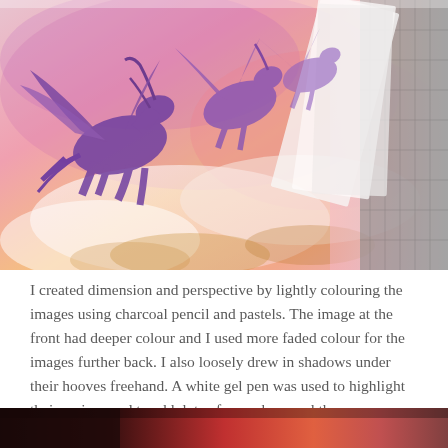[Figure (photo): Watercolor artwork showing silhouettes of flying pegasus horses in purple tones against a warm pink/orange/yellow sky background. To the right, partially visible white paper sheets on a dark cutting mat.]
I created dimension and perspective by lightly colouring the images using charcoal pencil and pastels. The image at the front had deeper colour and I used more faded colour for the images further back. I also loosely drew in shadows under their hooves freehand. A white gel pen was used to highlight their maines and to add dots of snow here and there.
[Figure (photo): Bottom strip showing a dark scene with warm pinkish-red tones, partially visible.]